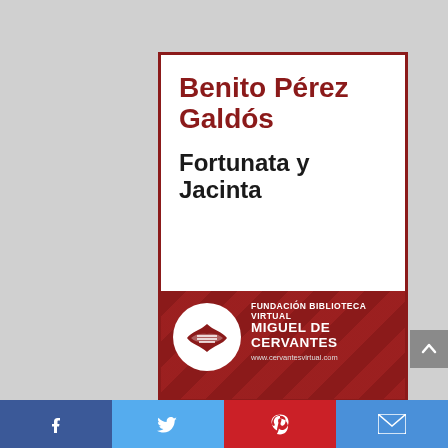[Figure (illustration): Book cover for 'Fortunata y Jacinta' by Benito Pérez Galdós, published by Fundación Biblioteca Virtual Miguel de Cervantes. White cover with dark red border, author name in red bold text, title in black bold text, and red footer banner with logo and foundation name. Below the cover is a social sharing bar with Facebook, Twitter, Pinterest, and email icons.]